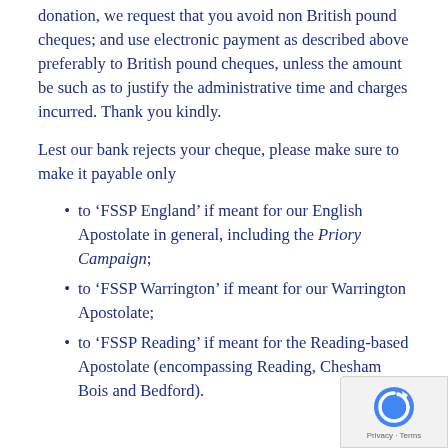donation, we request that you avoid non British pound cheques; and use electronic payment as described above preferably to British pound cheques, unless the amount be such as to justify the administrative time and charges incurred. Thank you kindly.
Lest our bank rejects your cheque, please make sure to make it payable only
to ‘FSSP England’ if meant for our English Apostolate in general, including the Priory Campaign;
to ‘FSSP Warrington’ if meant for our Warrington Apostolate;
to ‘FSSP Reading’ if meant for the Reading-based Apostolate (encompassing Reading, Chesham Bois and Bedford).